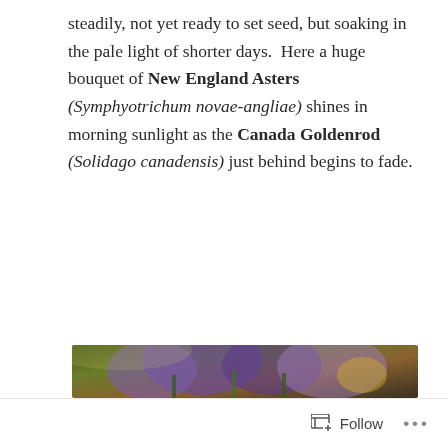steadily, not yet ready to set seed, but soaking in the pale light of shorter days.  Here a huge bouquet of New England Asters (Symphyotrichum novae-angliae) shines in morning sunlight as the Canada Goldenrod (Solidago canadensis) just behind begins to fade.
[Figure (photo): A close-up photograph of purple New England Aster flowers in bloom, with yellow Canada Goldenrod visible behind them, shot in morning sunlight against a blurred green and yellow foliage background.]
Follow ...